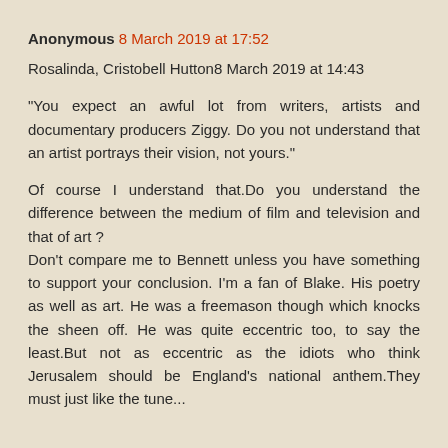Anonymous 8 March 2019 at 17:52
Rosalinda, Cristobell Hutton8 March 2019 at 14:43

"You expect an awful lot from writers, artists and documentary producers Ziggy. Do you not understand that an artist portrays their vision, not yours."

Of course I understand that.Do you understand the difference between the medium of film and television and that of art ?
Don't compare me to Bennett unless you have something to support your conclusion. I'm a fan of Blake. His poetry as well as art. He was a freemason though which knocks the sheen off. He was quite eccentric too, to say the least.But not as eccentric as the idiots who think Jerusalem should be England's national anthem.They must just like the tune...